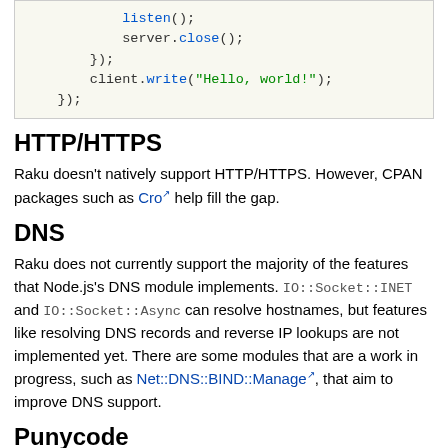[Figure (screenshot): Code block showing Node.js TCP server code snippet with server.close(), }); client.write("Hello, world!"); });]
HTTP/HTTPS
Raku doesn't natively support HTTP/HTTPS. However, CPAN packages such as Cro help fill the gap.
DNS
Raku does not currently support the majority of the features that Node.js's DNS module implements. IO::Socket::INET and IO::Socket::Async can resolve hostnames, but features like resolving DNS records and reverse IP lookups are not implemented yet. There are some modules that are a work in progress, such as Net::DNS::BIND::Manage, that aim to improve DNS support.
Punycode
Punycode support is available through the Net::LibIDN, Net::LibIDN2, and IDNA::Punycode modules on CPAN.
The file system API...